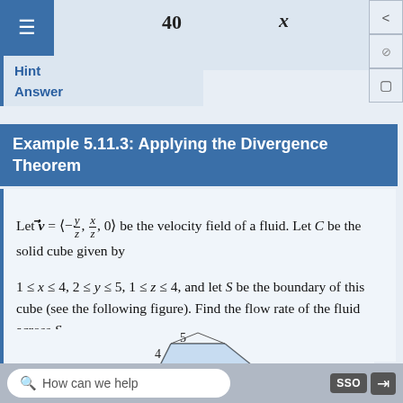[Figure (other): Top partial view showing number 40 and variable x with a 3D figure partially visible]
Hint
Answer
Example 5.11.3: Applying the Divergence Theorem
Let v = <-y/z, x/z, 0> be the velocity field of a fluid. Let C be the solid cube given by 1 ≤ x ≤ 4, 2 ≤ y ≤ 5, 1 ≤ z ≤ 4, and let S be the boundary of this cube (see the following figure). Find the flow rate of the fluid across S.
[Figure (engineering-diagram): Partial 3D cube diagram showing numbers 5 and 4]
How can we help  SSO